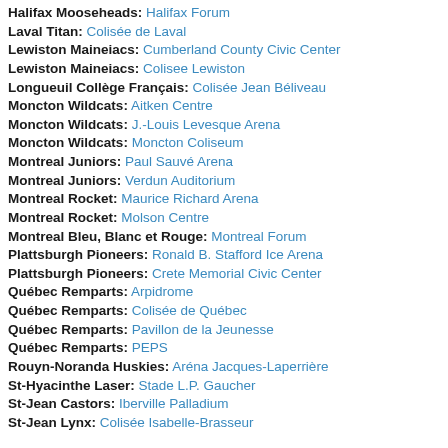Halifax Mooseheads: Halifax Forum
Laval Titan: Colisée de Laval
Lewiston Maineiacs: Cumberland County Civic Center
Lewiston Maineiacs: Colisee Lewiston
Longueuil Collège Français: Colisée Jean Béliveau
Moncton Wildcats: Aitken Centre
Moncton Wildcats: J.-Louis Levesque Arena
Moncton Wildcats: Moncton Coliseum
Montreal Juniors: Paul Sauvé Arena
Montreal Juniors: Verdun Auditorium
Montreal Rocket: Maurice Richard Arena
Montreal Rocket: Molson Centre
Montreal Bleu, Blanc et Rouge: Montreal Forum
Plattsburgh Pioneers: Ronald B. Stafford Ice Arena
Plattsburgh Pioneers: Crete Memorial Civic Center
Québec Remparts: Arpidrome
Québec Remparts: Colisée de Québec
Québec Remparts: Pavillon de la Jeunesse
Québec Remparts: PEPS
Rouyn-Noranda Huskies: Aréna Jacques-Laperrière
St-Hyacinthe Laser: Stade L.P. Gaucher
St-Jean Castors: Iberville Palladium
St-Jean Lynx: Colisée Isabelle-Brasseur